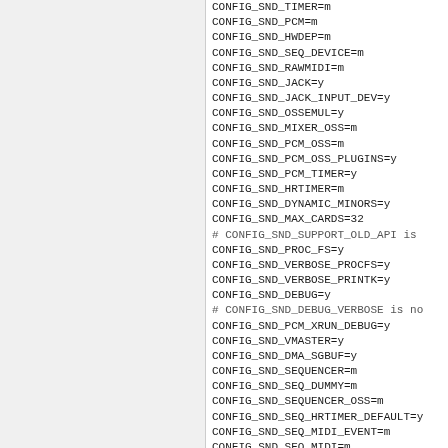[Figure (other): Left navigation/sidebar panel, grey background, no visible text]
CONFIG_SND_TIMER=m
CONFIG_SND_PCM=m
CONFIG_SND_HWDEP=m
CONFIG_SND_SEQ_DEVICE=m
CONFIG_SND_RAWMIDI=m
CONFIG_SND_JACK=y
CONFIG_SND_JACK_INPUT_DEV=y
CONFIG_SND_OSSEMUL=y
CONFIG_SND_MIXER_OSS=m
CONFIG_SND_PCM_OSS=m
CONFIG_SND_PCM_OSS_PLUGINS=y
CONFIG_SND_PCM_TIMER=y
CONFIG_SND_HRTIMER=m
CONFIG_SND_DYNAMIC_MINORS=y
CONFIG_SND_MAX_CARDS=32
# CONFIG_SND_SUPPORT_OLD_API is
CONFIG_SND_PROC_FS=y
CONFIG_SND_VERBOSE_PROCFS=y
CONFIG_SND_VERBOSE_PRINTK=y
CONFIG_SND_DEBUG=y
# CONFIG_SND_DEBUG_VERBOSE is no
CONFIG_SND_PCM_XRUN_DEBUG=y
CONFIG_SND_VMASTER=y
CONFIG_SND_DMA_SGBUF=y
CONFIG_SND_SEQUENCER=m
CONFIG_SND_SEQ_DUMMY=m
CONFIG_SND_SEQUENCER_OSS=m
CONFIG_SND_SEQ_HRTIMER_DEFAULT=y
CONFIG_SND_SEQ_MIDI_EVENT=m
CONFIG_SND_SEQ_MIDI=m
CONFIG_SND_SEQ_MIDI_EMUL=m
CONFIG_SND_SEQ_VIRMIDI=m
CONFIG_SND_MPU401_UART=m